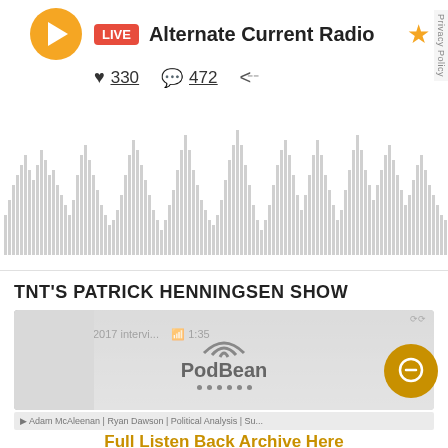[Figure (screenshot): Radio player UI with LIVE badge, Alternate Current Radio station name, play button, heart icon with 330 likes, comment icon with 472 comments, share icon, gold star, audio waveform visualization, and privacy policy sidebar label]
TNT'S PATRICK HENNINGSEN SHOW
[Figure (screenshot): Embedded PodBean podcast player showing John McAfee (2017 intervi... episode with podcast artwork and PodBean logo overlay]
Full Listen Back Archive Here